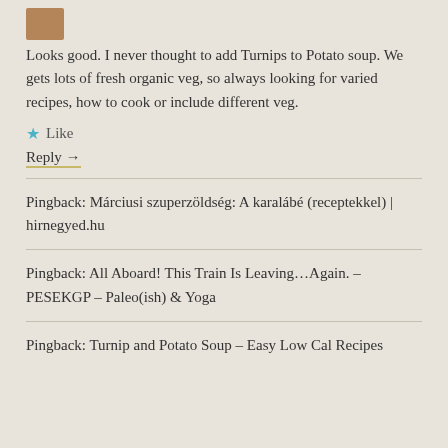[Figure (photo): Small avatar thumbnail image, partially visible at top left]
Looks good. I never thought to add Turnips to Potato soup. We gets lots of fresh organic veg, so always looking for varied recipes, how to cook or include different veg.
★ Like
Reply →
Pingback: Márciusi szuperzöldség: A karalábé (receptekkel) | hirnegyed.hu
Pingback: All Aboard! This Train Is Leaving...Again. – PESEKGP – Paleo(ish) & Yoga
Pingback: Turnip and Potato Soup – Easy Low Cal Recipes